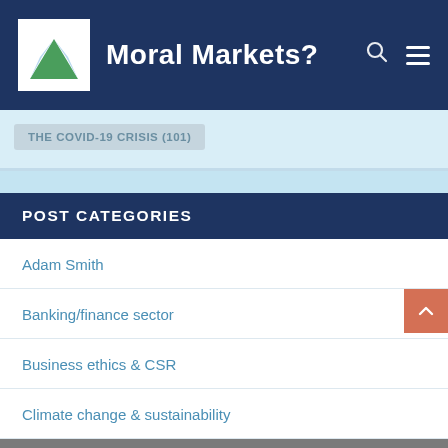Moral Markets?
THE COVID-19 CRISIS (101)
POST CATEGORIES
Adam Smith
Banking/finance sector
Business ethics & CSR
Climate change & sustainability
Communism & socialism
Share This